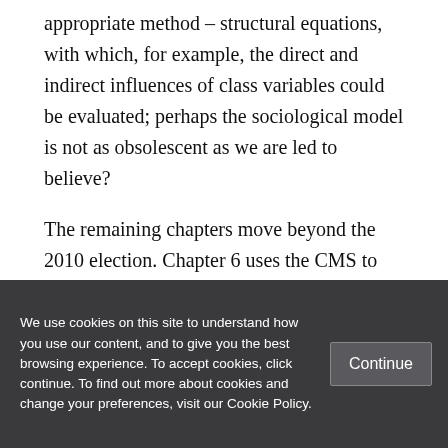appropriate method – structural equations, with which, for example, the direct and indirect influences of class variables could be evaluated; perhaps the sociological model is not as obsolescent as we are led to believe?

The remaining chapters move beyond the 2010 election. Chapter 6 uses the CMS to assess voter attitudes after formation of the coalition government and its austerity
We use cookies on this site to understand how you use our content, and to give you the best browsing experience. To accept cookies, click continue. To find out more about cookies and change your preferences, visit our Cookie Policy.